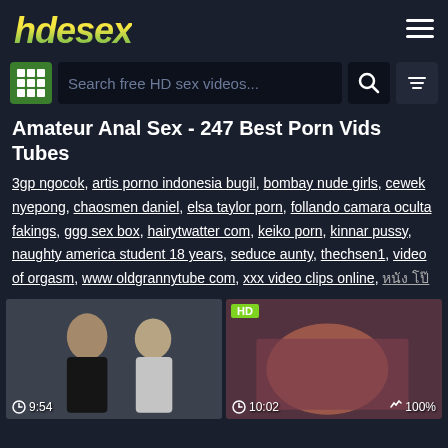hdesex
Search free HD sex videos...
Amateur Anal Sex - 247 Best Porn Vids Tubes
3gp ngocok, artis porno indonesia bugil, bombay nude girls, cewek nyepong, chaosmen daniel, elsa taylor porn, follando camara oculta fakings, ggg sex box, hairytwatter com, keiko porn, kinnar pussy, naughty america student 18 years, seduce aunty, thechsen1, video of orgasm, www oldgrannytube com, xxx video clips online, หนัง โป๊
[Figure (screenshot): Video thumbnail showing two people, duration 9:54]
[Figure (screenshot): Video thumbnail with HD badge showing intimate content, duration 10:02, rating 100%]